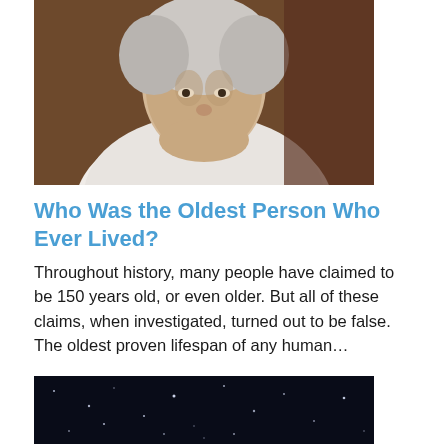[Figure (photo): Photograph of an elderly woman with white hair, wearing a white cable-knit sweater, seated and looking at the camera.]
Who Was the Oldest Person Who Ever Lived?
Throughout history, many people have claimed to be 150 years old, or even older. But all of these claims, when investigated, turned out to be false. The oldest proven lifespan of any human...
[Figure (photo): Partial photo showing a dark night sky with stars.]